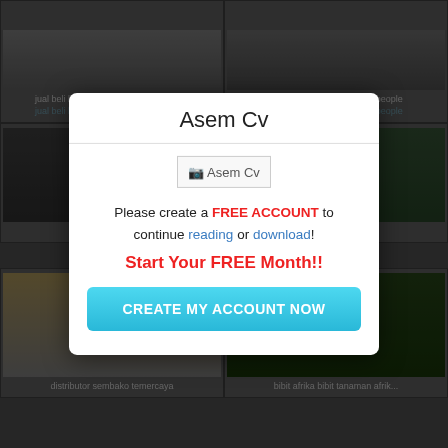[Figure (screenshot): Background grid of website thumbnails with text labels showing product/page previews in dark overlay]
Asem Cv
[Figure (screenshot): Broken image placeholder labeled 'Asem Cv']
Please create a FREE ACCOUNT to continue reading or download!
Start Your FREE Month!!
CREATE MY ACCOUNT NOW